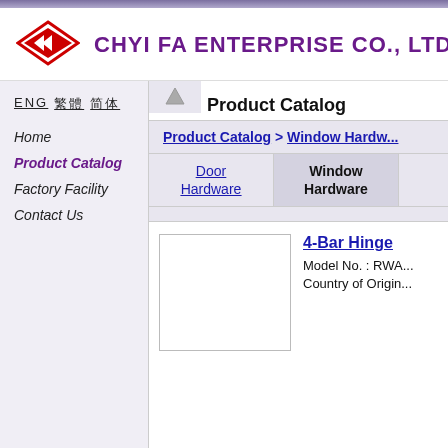[Figure (logo): Red diamond-shaped logo with arrows pointing left, for Chyi Fa Enterprise]
CHYI FA ENTERPRISE CO., LTD.
ENG 繁體 简体
Home
Product Catalog
Factory Facility
Contact Us
Product Catalog
Product Catalog > Window Hard...
Door Hardware
Window Hardware
[Figure (photo): Product image placeholder for 4-Bar Hinge]
4-Bar Hinge
Model No. : RWA...
Country of Origin...